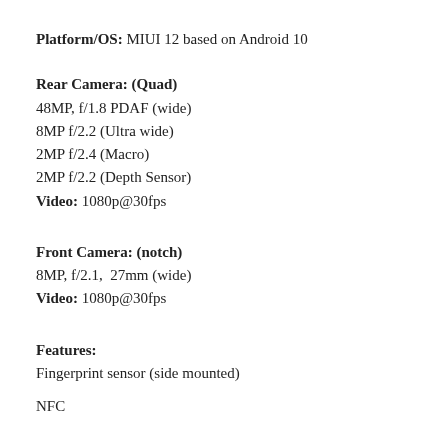Platform/OS: MIUI 12 based on Android 10
Rear Camera: (Quad)
48MP, f/1.8 PDAF (wide)
8MP f/2.2 (Ultra wide)
2MP f/2.4 (Macro)
2MP f/2.2 (Depth Sensor)
Video: 1080p@30fps
Front Camera: (notch)
8MP, f/2.1,  27mm (wide)
Video: 1080p@30fps
Features:
Fingerprint sensor (side mounted)
NFC